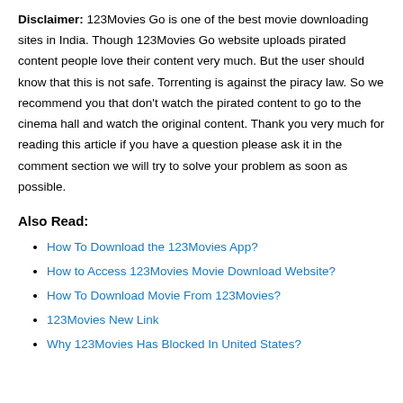Disclaimer: 123Movies Go is one of the best movie downloading sites in India. Though 123Movies Go website uploads pirated content people love their content very much. But the user should know that this is not safe. Torrenting is against the piracy law. So we recommend you that don't watch the pirated content to go to the cinema hall and watch the original content. Thank you very much for reading this article if you have a question please ask it in the comment section we will try to solve your problem as soon as possible.
Also Read:
How To Download the 123Movies App?
How to Access 123Movies Movie Download Website?
How To Download Movie From 123Movies?
123Movies New Link
Why 123Movies Has Blocked In United States?